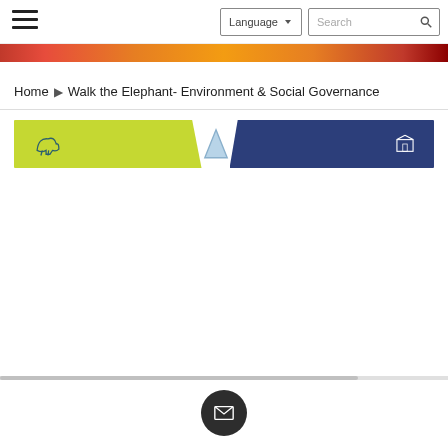Language  Search
[Figure (screenshot): Hero banner strip with warm orange/red gradient pattern]
Home  ▶  Walk the Elephant- Environment & Social Governance
[Figure (infographic): ESG banner with two colored sections: green/yellow left panel and dark navy blue right panel, with icons]
[Figure (other): Dark circular email/envelope button at bottom center]